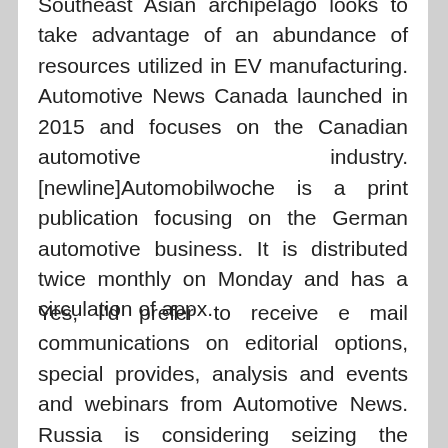Southeast Asian archipelago looks to take advantage of an abundance of resources utilized in EV manufacturing. Automotive News Canada launched in 2015 and focuses on the Canadian automotive industry. [newline]Automobilwoche is a print publication focusing on the German automotive business. It is distributed twice monthly on Monday and has a circulation of appx.
Yes, I'd prefer to receive e mail communications on editorial options, special provides, analysis and events and webinars from Automotive News. Russia is considering seizing the belongings of firms that have left the country in response to its invasion of